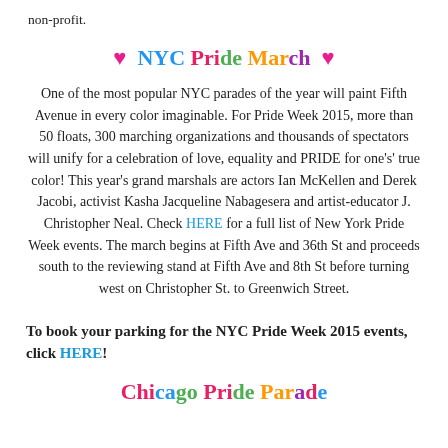non-profit.
♥  NYC Pride March  ♥
One of the most popular NYC parades of the year will paint Fifth Avenue in every color imaginable. For Pride Week 2015, more than 50 floats, 300 marching organizations and thousands of spectators will unify for a celebration of love, equality and PRIDE for one's' true color! This year's grand marshals are actors Ian McKellen and Derek Jacobi, activist Kasha Jacqueline Nabagesera and artist-educator J. Christopher Neal. Check HERE for a full list of New York Pride Week events. The march begins at Fifth Ave and 36th St and proceeds south to the reviewing stand at Fifth Ave and 8th St before turning west on Christopher St. to Greenwich Street.
To book your parking for the NYC Pride Week 2015 events, click HERE!
Chicago Pride Parade